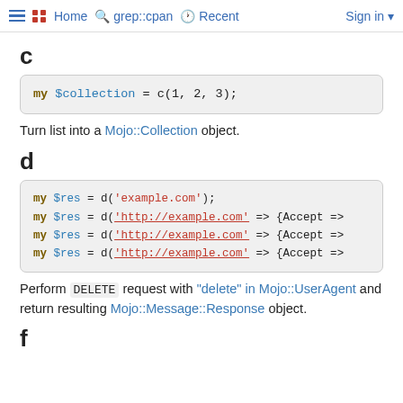≡ •• Home  grep::cpan  Recent  Sign in
c
my $collection = c(1, 2, 3);
Turn list into a Mojo::Collection object.
d
my $res = d('example.com');
my $res = d('http://example.com' => {Accept =>
my $res = d('http://example.com' => {Accept =>
my $res = d('http://example.com' => {Accept =>
Perform DELETE request with "delete" in Mojo::UserAgent and return resulting Mojo::Message::Response object.
f